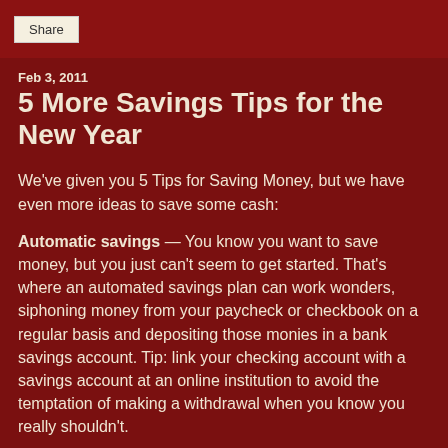Share
Feb 3, 2011
5 More Savings Tips for the New Year
We've given you 5 Tips for Saving Money, but we have even more ideas to save some cash:
Automatic savings — You know you want to save money, but you just can't seem to get started. That's where an automated savings plan can work wonders, siphoning money from your paycheck or checkbook on a regular basis and depositing those monies in a bank savings account. Tip: link your checking account with a savings account at an online institution to avoid the temptation of making a withdrawal when you know you really shouldn't.
Buy a home — If you're in the market for a new home, 2011 may be the best year to buy one for two reasons: 1)